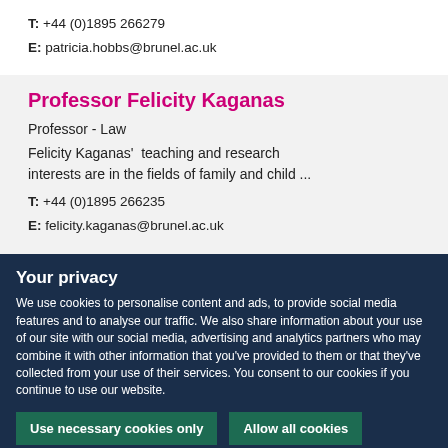T: +44 (0)1895 266279
E: patricia.hobbs@brunel.ac.uk
Professor Felicity Kaganas
Professor - Law
Felicity Kaganas'  teaching and research interests are in the fields of family and child ...
T: +44 (0)1895 266235
E: felicity.kaganas@brunel.ac.uk
Your privacy
We use cookies to personalise content and ads, to provide social media features and to analyse our traffic. We also share information about your use of our site with our social media, advertising and analytics partners who may combine it with other information that you've provided to them or that they've collected from your use of their services. You consent to our cookies if you continue to use our website.
Use necessary cookies only
Allow all cookies
Show details